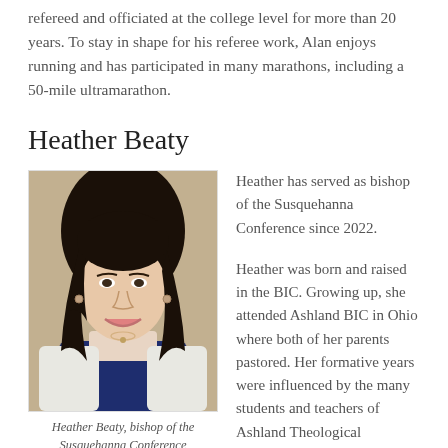refereed and officiated at the college level for more than 20 years. To stay in shape for his referee work, Alan enjoys running and has participated in many marathons, including a 50-mile ultramarathon.
Heather Beaty
[Figure (photo): Portrait photo of Heather Beaty, a woman with long dark hair, smiling, wearing a navy top and white cardigan.]
Heather Beaty, bishop of the Susquehanna Conference
Heather has served as bishop of the Susquehanna Conference since 2022.
Heather was born and raised in the BIC. Growing up, she attended Ashland BIC in Ohio where both of her parents pastored. Her formative years were influenced by the many students and teachers of Ashland Theological Seminary who were actively involved with the church. She graduated from Messiah